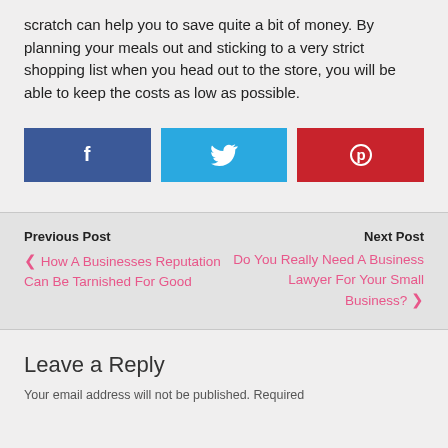scratch can help you to save quite a bit of money. By planning your meals out and sticking to a very strict shopping list when you head out to the store, you will be able to keep the costs as low as possible.
[Figure (infographic): Three social share buttons: Facebook (dark blue, f icon), Twitter (light blue, bird icon), Pinterest (red, p icon)]
Previous Post
‹ How A Businesses Reputation Can Be Tarnished For Good
Next Post
Do You Really Need A Business Lawyer For Your Small Business? ›
Leave a Reply
Your email address will not be published. Required